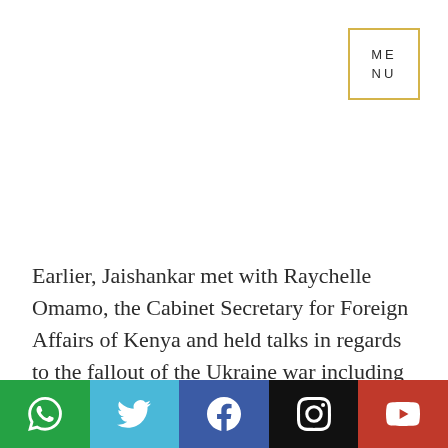MENU
Earlier, Jaishankar met with Raychelle Omamo, the Cabinet Secretary for Foreign Affairs of Kenya and held talks in regards to the fallout of the Ukraine war including food, fuel and fertilizer security.
Taking to social media, Jaishankar tweeted, "So nice to meet my friend Raychelle Omamo of Kenya. Our
[Figure (infographic): Social media sharing bar with icons for WhatsApp (green), Twitter (light blue), Facebook (dark blue), Instagram (black), YouTube (red)]